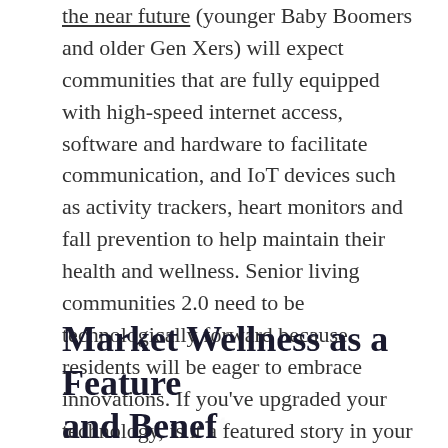the near future (younger Baby Boomers and older Gen Xers) will expect communities that are fully equipped with high-speed internet access, software and hardware to facilitate communication, and IoT devices such as activity trackers, heart monitors and fall prevention to help maintain their health and wellness. Senior living communities 2.0 need to be technologically forward because residents will be eager to embrace innovations. If you've upgraded your technology, is it a featured story in your messaging?
Market Wellness as a Feature and Benefit